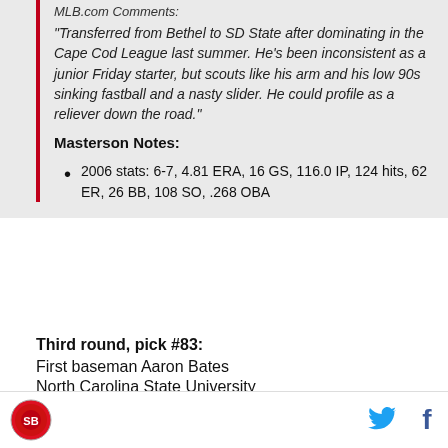MLB.com Comments:
"Transferred from Bethel to SD State after dominating in the Cape Cod League last summer. He's been inconsistent as a junior Friday starter, but scouts like his arm and his low 90s sinking fastball and a nasty slider. He could profile as a reliever down the road."
Masterson Notes:
2006 stats: 6-7, 4.81 ERA, 16 GS, 116.0 IP, 124 hits, 62 ER, 26 BB, 108 SO, .268 OBA
Third round, pick #83:
First baseman Aaron Bates
North Carolina State University